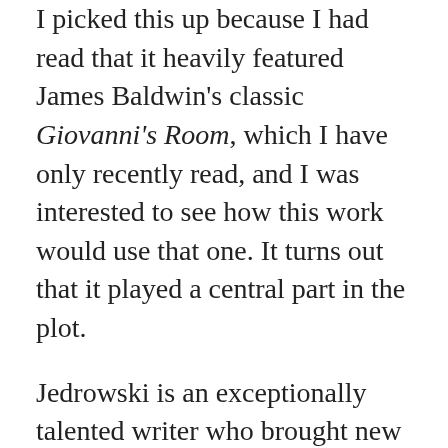I picked this up because I had read that it heavily featured James Baldwin's classic Giovanni's Room, which I have only recently read, and I was interested to see how this work would use that one. It turns out that it played a central part in the plot.
Jedrowski is an exceptionally talented writer who brought new emotional insight by referencing themes like social acceptance, shame, guilt, perseverance, and vulnerability in various aspects of the characters' lives. There were, for example, complex emotional parallels between rebelling against an oppressive political regime and rebelling against a heteronormative society.